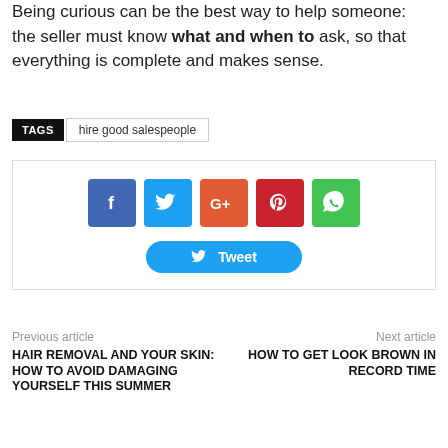Being curious can be the best way to help someone: the seller must know what and when to ask, so that everything is complete and makes sense.
TAGS  hire good salespeople
[Figure (infographic): Social sharing buttons: Facebook (blue), Twitter (light blue), Google+ (orange-red), Pinterest (dark red), WhatsApp (green), and a Tweet button below]
Previous article
Next article
HAIR REMOVAL AND YOUR SKIN: HOW TO AVOID DAMAGING YOURSELF THIS SUMMER
HOW TO GET LOOK BROWN IN RECORD TIME